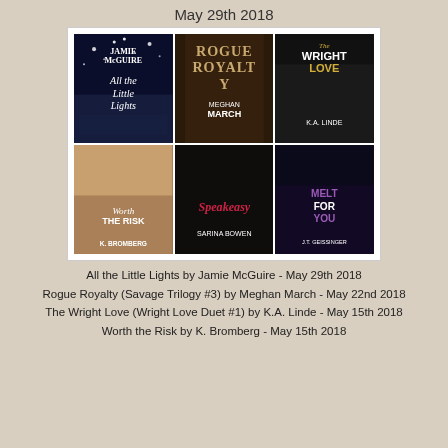May 29th 2018
[Figure (illustration): A 3x2 grid of book covers: All the Little Lights by Jamie McGuire, Rogue Royalty by Meghan March, The Wright Love by K.A. Linde, Worth the Risk by K. Bromberg, Speakeasy by Sarina Bowen, Melt for You by J.T. Geissinger]
All the Little Lights by Jamie McGuire - May 29th 2018
Rogue Royalty (Savage Trilogy #3) by Meghan March - May 22nd 2018
The Wright Love (Wright Love Duet #1) by K.A. Linde - May 15th 2018
Worth the Risk by K. Bromberg - May 15th 2018